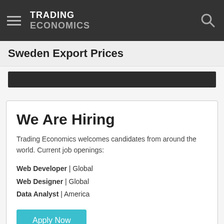TRADING ECONOMICS
Sweden Export Prices
[Figure (other): Dark banner area representing a chart or advertisement placeholder]
We Are Hiring
Trading Economics welcomes candidates from around the world. Current job openings:
Web Developer | Global
Web Designer | Global
Data Analyst | America
Apply Now